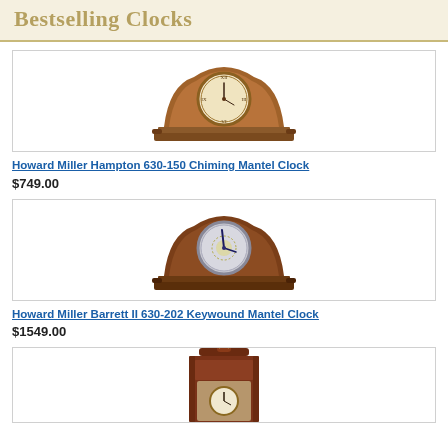Bestselling Clocks
[Figure (photo): Howard Miller Hampton 630-150 Chiming Mantel Clock - brown wooden mantel clock with cream Roman numeral face]
Howard Miller Hampton 630-150 Chiming Mantel Clock
$749.00
[Figure (photo): Howard Miller Barrett II 630-202 Keywound Mantel Clock - dark wooden mantel clock with silver/chrome face]
Howard Miller Barrett II 630-202 Keywound Mantel Clock
$1549.00
[Figure (photo): Third clock product - tall grandfather or mantel clock with dark wood casing, partially visible]